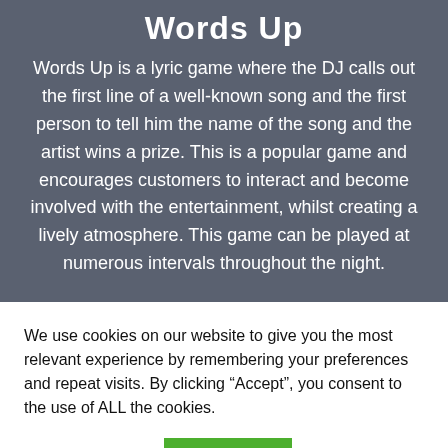Words Up
Words Up is a lyric game where the DJ calls out the first line of a well-known song and the first person to tell him the name of the song and the artist wins a prize. This is a popular game and encourages customers to interact and become involved with the entertainment, whilst creating a lively atmosphere. This game can be played at numerous intervals throughout the night.
We use cookies on our website to give you the most relevant experience by remembering your preferences and repeat visits. By clicking “Accept”, you consent to the use of ALL the cookies.
Cookie settings | ACCEPT